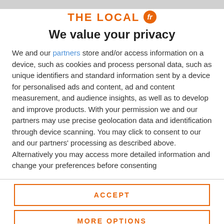THE LOCAL fr
We value your privacy
We and our partners store and/or access information on a device, such as cookies and process personal data, such as unique identifiers and standard information sent by a device for personalised ads and content, ad and content measurement, and audience insights, as well as to develop and improve products. With your permission we and our partners may use precise geolocation data and identification through device scanning. You may click to consent to our and our partners' processing as described above. Alternatively you may access more detailed information and change your preferences before consenting
ACCEPT
MORE OPTIONS